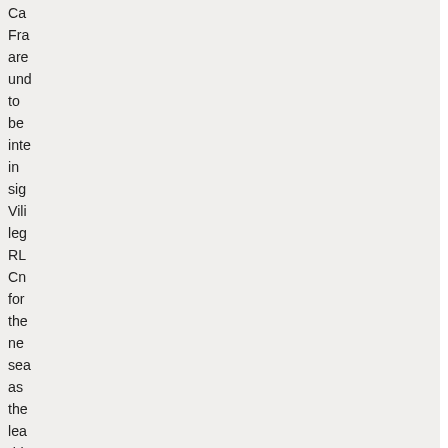Ca Fra are und to be inte in sig Vili leg RL Cn for the ne sea as the lea dri and wit Cn exp